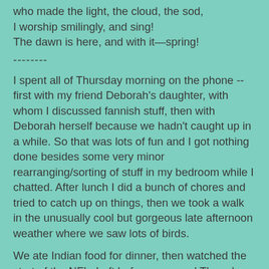who made the light, the cloud, the sod,
I worship smilingly, and sing!
The dawn is here, and with it—spring!
--------
I spent all of Thursday morning on the phone -- first with my friend Deborah's daughter, with whom I discussed fannish stuff, then with Deborah herself because we hadn't caught up in a while. So that was lots of fun and I got nothing done besides some very minor rearranging/sorting of stuff in my bedroom while I chatted. After lunch I did a bunch of chores and tried to catch up on things, then we took a walk in the unusually cool but gorgeous late afternoon weather where we saw lots of birds.
We ate Indian food for dinner, then watched the start of the NFL draft before my usual Thursday night fannish chat, which was long and covered a lot of territory. Paul talked to his parents, who feel pretty much recovered, which is great news. On Sunday we got to watch Breezy Hill Farm's alpacas get a new member of the herd -- here you can see the lookout, the other males very curious, and all the ladies